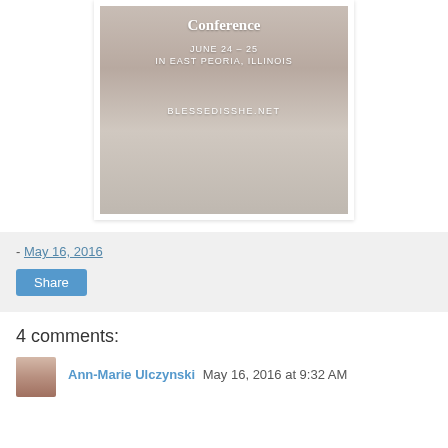[Figure (photo): Conference promotional image showing a woman with hands clasped in prayer, with text overlay: 'Conference / JUNE 24 - 25 / IN EAST PEORIA, ILLINOIS / BLESSEDISSHE.NET']
- May 16, 2016
Share
4 comments:
Ann-Marie Ulczynski May 16, 2016 at 9:32 AM